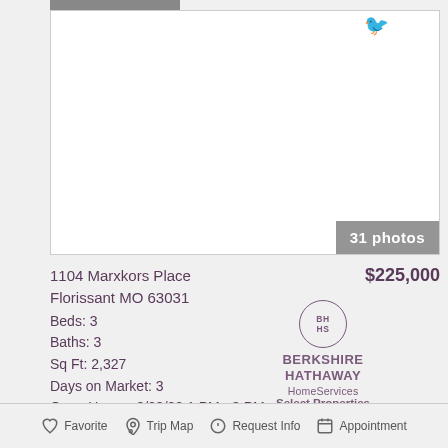[Figure (photo): Property listing photo area — white/blank photo placeholder with gray tab at top and '31 photos' badge at bottom right]
1104 Marxkors Place
Florissant MO 63031
Beds: 3
Baths: 3
Sq Ft: 2,327
Days on Market: 3
Open House: 8/28/22 1 PM - 3 PM
$225,000
[Figure (logo): Berkshire Hathaway HomeServices Select Properties logo with circular BH/HS emblem]
Favorite   Trip Map   Request Info   Appointment